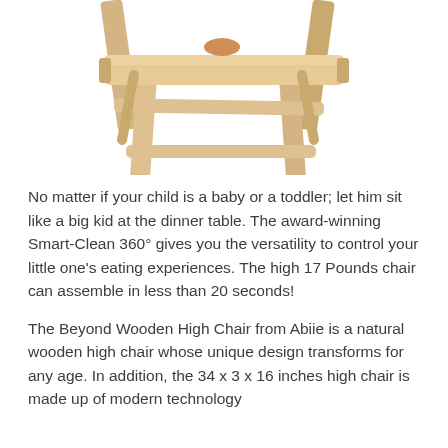[Figure (photo): A natural wooden high chair (the Beyond Wooden High Chair by Abiie) photographed from below/side angle showing the wooden legs and seat structure on a white background.]
No matter if your child is a baby or a toddler; let him sit like a big kid at the dinner table. The award-winning Smart-Clean 360° gives you the versatility to control your little one's eating experiences. The high 17 Pounds chair can assemble in less than 20 seconds!
The Beyond Wooden High Chair from Abiie is a natural wooden high chair whose unique design transforms for any age. In addition, the 34 x 3 x 16 inches high chair is made up of modern technology